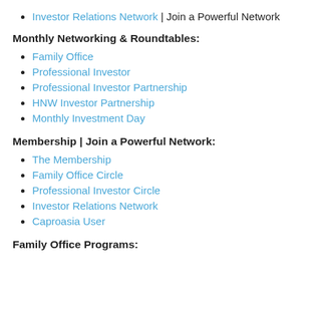Investor Relations Network | Join a Powerful Network
Monthly Networking & Roundtables:
Family Office
Professional Investor
Professional Investor Partnership
HNW Investor Partnership
Monthly Investment Day
Membership | Join a Powerful Network:
The Membership
Family Office Circle
Professional Investor Circle
Investor Relations Network
Caproasia User
Family Office Programs: